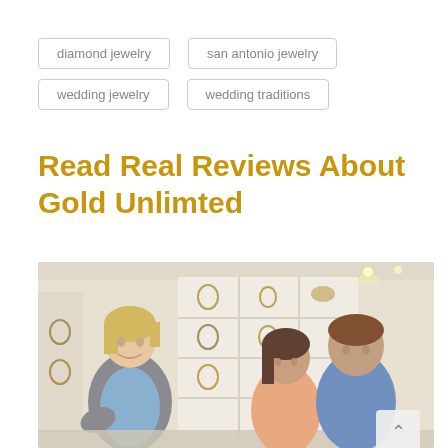diamond jewelry
san antonio jewelry
wedding jewelry
wedding traditions
Read Real Reviews About Gold Unlimted
[Figure (photo): A jewelry store scene with a blonde female sales associate showing jewelry to a young couple (woman in peach top and man in blue shirt). Display cases with necklaces and jewelry items are visible in the background.]